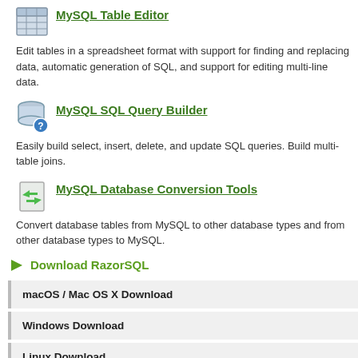MySQL Table Editor
Edit tables in a spreadsheet format with support for finding and replacing data, automatic generation of SQL, and support for editing multi-line data.
MySQL SQL Query Builder
Easily build select, insert, delete, and update SQL queries. Build multi-table joins.
MySQL Database Conversion Tools
Convert database tables from MySQL to other database types and from other database types to MySQL.
Download RazorSQL
macOS / Mac OS X Download
Windows Download
Linux Download